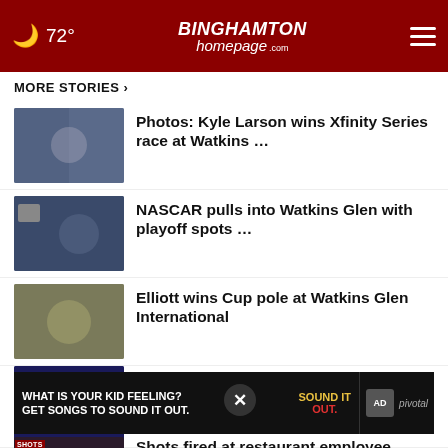72° — BINGHAMTON homepage.com
MORE STORIES >
Photos: Kyle Larson wins Xfinity Series race at Watkins …
NASCAR pulls into Watkins Glen with playoff spots …
Elliott wins Cup pole at Watkins Glen International
Newfield man arrested after attempted robbery in …
Shots fired at restaurant employee
[Figure (screenshot): Advertisement banner: WHAT IS YOUR KID FEELING? GET SONGS TO SOUND IT OUT. Sound It Out / ad council / pivotal]
…ing